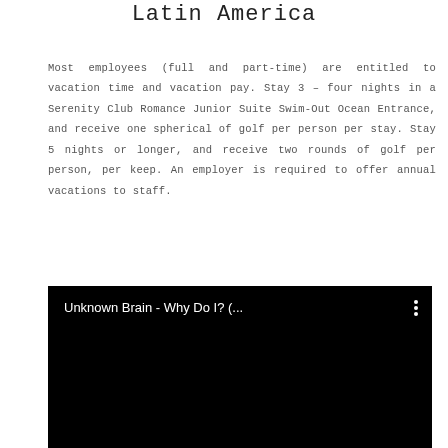Latin America
Most employees (full and part-time) are entitled to vacation time and vacation pay. Stay 3 – four nights in a Serenity Club Romance Junior Suite Swim-Out Ocean Entrance, and receive one spherical of golf per person per stay. Stay 5 nights or longer, and receive two rounds of golf per person, per keep. An employer is required to offer annual vacations to staff.
[Figure (screenshot): Embedded video player (black background) showing title 'Unknown Brain - Why Do I? (…' with a vertical three-dot menu icon in the top right corner.]